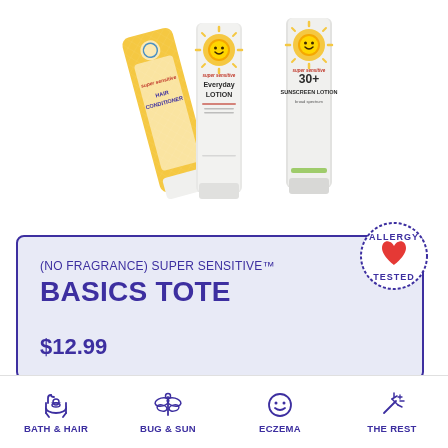[Figure (photo): Three California Baby product tubes: Super Sensitive Hair Conditioner (yellow), Super Sensitive Everyday Lotion (clear/white), and Super Sensitive 30+ Sunscreen Lotion (clear/white) arranged side by side on white background]
[Figure (logo): Allergy Tested circular badge stamp with red heart icon]
(NO FRAGRANCE) SUPER SENSITIVE™
BASICS TOTE
$12.99
[Figure (infographic): Bottom navigation bar with four category icons: BATH & HAIR (bathtub icon), BUG & SUN (dragonfly icon), ECZEMA (smiley face icon), THE REST (sparkle icon)]